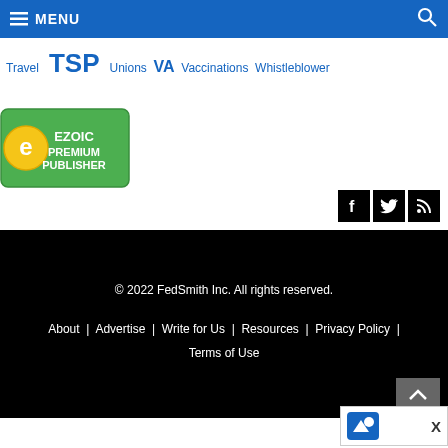MENU [search icon]
Travel  TSP  Unions  VA  Vaccinations  Whistleblower
[Figure (logo): Ezoic Premium Publisher badge - circular gold/green logo with 'E' icon and text 'EZOIC PREMIUM PUBLISHER' on green background]
[Figure (infographic): Social media icons: Facebook, Twitter, RSS feed — white icons on black square backgrounds]
© 2022 FedSmith Inc. All rights reserved.
About | Advertise | Write for Us | Resources | Privacy Policy | Terms of Use
[Figure (logo): Advertisement corner: blue bird logo icon with X close button]